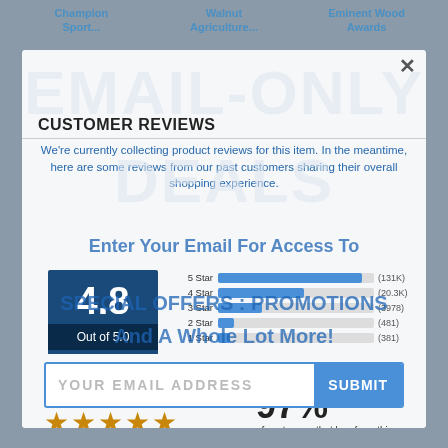Champion Sport... | Walnut Agriculture... | Eminent Wood Awards
CUSTOMER REVIEWS
We're currently collecting product reviews for this item. In the meantime, here are some reviews from our past customers sharing their overall shopping experience.
EMAIL-ONLY DEALS
Enter Your Email For Access To SPECIAL OFFERS : PROMOTIONS And A Whole Lot More!
[Figure (bar-chart): Star Rating Breakdown]
4.8
Out of 5.0
Overall Rating
97%
of customers that buy from this merchant give them a 4 or 5-Star rating.
YOUR EMAIL ADDRESS
SUBMIT
Crown Awards